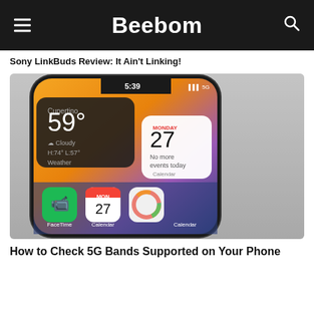Beebom
Sony LinkBuds Review: It Ain't Linking!
[Figure (photo): Close-up photo of an iPhone screen showing the home screen with weather widget (Cupertino 59°, Cloudy H:74° L:57°), calendar widget (Monday 27, No more events today), FaceTime app, Calendar app (MON 27), Photos app icons, and 5G signal indicator, placed on a gray marble surface.]
How to Check 5G Bands Supported on Your Phone